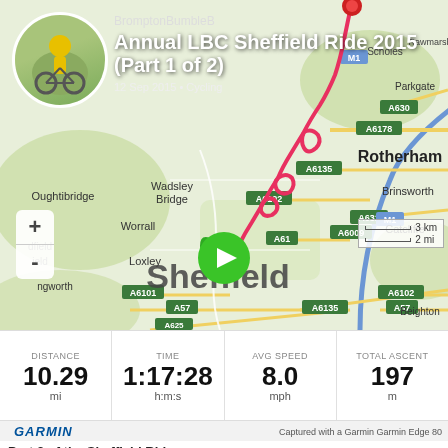[Figure (map): Garmin activity map of Sheffield area showing a cycling route traced in red/pink from Rotherham area down through Sheffield, overlaid on a street map with roads, place names (Sheffield, Rotherham, Oughtibridge, Worrall, Loxley, Wadsley Bridge, Brinsworth, Catcliffe, Beighton etc.) and road numbers (A6135, A6102, A61, A630, A6178, A631, M1, A57, A625)]
BromptonBumbleB
Annual LBC Sheffield Ride 2015 (Part 1 of 2)
12 Sep 2015 • Cycling
| DISTANCE | TIME | AVG SPEED | TOTAL ASCENT |
| --- | --- | --- | --- |
| 10.29 | 1:17:28 | 8.0 | 197 |
| mi | h:m:s | mph | m |
GARMIN   Captured with a Garmin Garmin Edge 80
Part 2 of the Sheffield Ride